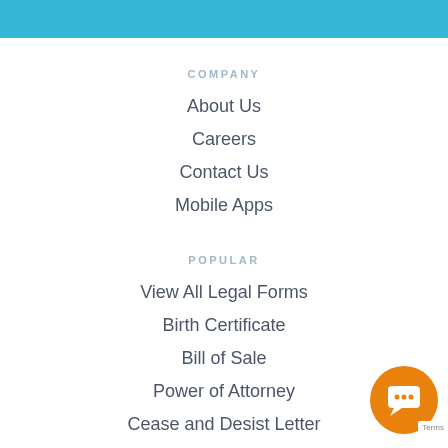COMPANY
About Us
Careers
Contact Us
Mobile Apps
POPULAR
View All Legal Forms
Birth Certificate
Bill of Sale
Power of Attorney
Cease and Desist Letter
Trademark Registration